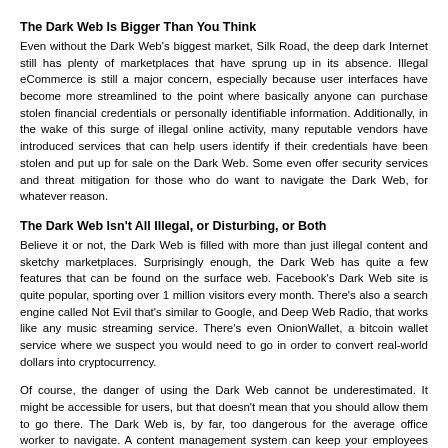The Dark Web Is Bigger Than You Think
Even without the Dark Web's biggest market, Silk Road, the deep dark Internet still has plenty of marketplaces that have sprung up in its absence. Illegal eCommerce is still a major concern, especially because user interfaces have become more streamlined to the point where basically anyone can purchase stolen financial credentials or personally identifiable information. Additionally, in the wake of this surge of illegal online activity, many reputable vendors have introduced services that can help users identify if their credentials have been stolen and put up for sale on the Dark Web. Some even offer security services and threat mitigation for those who do want to navigate the Dark Web, for whatever reason.
The Dark Web Isn't All Illegal, or Disturbing, or Both
Believe it or not, the Dark Web is filled with more than just illegal content and sketchy marketplaces. Surprisingly enough, the Dark Web has quite a few features that can be found on the surface web. Facebook's Dark Web site is quite popular, sporting over 1 million visitors every month. There's also a search engine called Not Evil that's similar to Google, and Deep Web Radio, that works like any music streaming service. There's even OnionWallet, a bitcoin wallet service where we suspect you would need to go in order to convert real-world dollars into cryptocurrency.
Of course, the danger of using the Dark Web cannot be underestimated. It might be accessible for users, but that doesn't mean that you should allow them to go there. The Dark Web is, by far, too dangerous for the average office worker to navigate. A content management system can keep your employees from visiting dangerous websites that could either land themselves or your business into hot